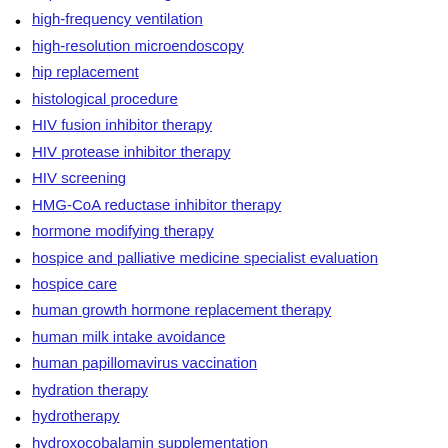hepatitis C screening
high-frequency ventilation
high-resolution microendoscopy
hip replacement
histological procedure
HIV fusion inhibitor therapy
HIV protease inhibitor therapy
HIV screening
HMG-CoA reductase inhibitor therapy
hormone modifying therapy
hospice and palliative medicine specialist evaluation
hospice care
human growth hormone replacement therapy
human milk intake avoidance
human papillomavirus vaccination
hydration therapy
hydrotherapy
hydroxocobalamin supplementation
hyperglycemia prevention recommendation
hyperglycemic agent therapy
hypertension prevention recommendation
hypoglycemic drug therapy
hypophysectomy
hypotension prevention recommendation
hysterectomy